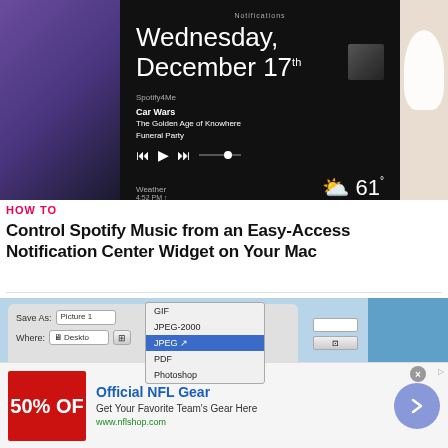[Figure (photo): Smartphone screen showing Notification Center on Mac with Spotify widget displaying 'Wednesday, December 17th', Car Wars track from The Golden Age of Knowhere by Funeral Party, and weather showing 61 degrees at 4:52 PM]
HOW TO
Control Spotify Music from an Easy-Access Notification Center Widget on Your Mac
[Figure (screenshot): Mac OS X Save dialog showing format dropdown with options GIF, JPEG-2000, JPEG (highlighted in blue), PDF, Photoshop]
[Figure (other): Advertisement: Official NFL Gear - Get Your Favorite Team's Gear Here - www.nflshop.com - 50% OFF banner with arrow button]